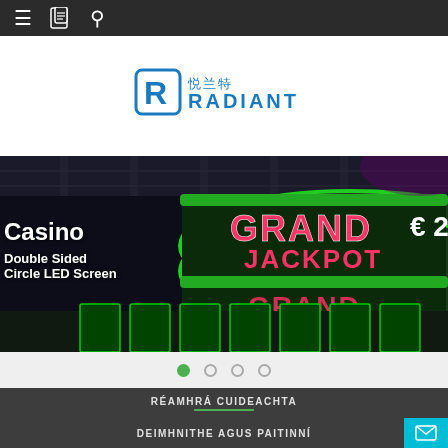Navigation bar with menu, book, and search icons
[Figure (logo): Radiant company logo with Chinese characters and stylized R icon in blue]
[Figure (photo): Casino interior with double-sided circular LED screen displaying Grand Jackpot text and Euro 20 amounts in green and red neon lighting]
Casino
Double Sided
Circle LED Screen
[Figure (other): Carousel navigation dots: 4 dots, first one green/active, others outlined]
RÉAMHRÁ CUIDEACHTA
DEIMHNITHE AGUS PAITINNÍ